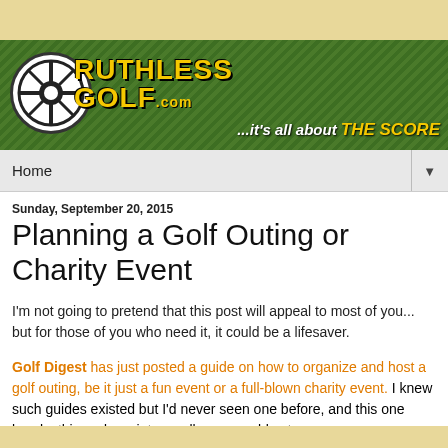[Figure (logo): RuthlessGolf.com website banner with green grass background, logo featuring a wheel/tire design with yellow text reading RUTHLESS GOLF.com, golf club and ball, tagline ...it's all about THE SCORE]
Home ▼
Sunday, September 20, 2015
Planning a Golf Outing or Charity Event
I'm not going to pretend that this post will appeal to most of you... but for those of you who need it, it could be a lifesaver.
Golf Digest has just posted a guide on how to organize and host a golf outing, be it just a fun event or a full-blown charity event. I knew such guides existed but I'd never seen one before, and this one breaks things down into small manageable steps.